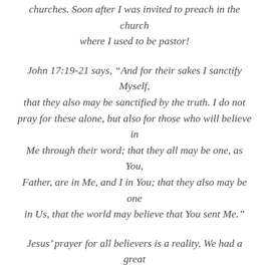churches. Soon after I was invited to preach in the church where I used to be pastor!
John 17:19-21 says, “And for their sakes I sanctify Myself, that they also may be sanctified by the truth. I do not pray for these alone, but also for those who will believe in Me through their word; that they all may be one, as You, Father, are in Me, and I in You; that they also may be one in Us, that the world may believe that You sent Me.”
Jesus’ prayer for all believers is a reality. We had a great time in the Church and spent a meaningful time together. Today, the church is asking me to teach almost every week on the national radio. We are in communion in